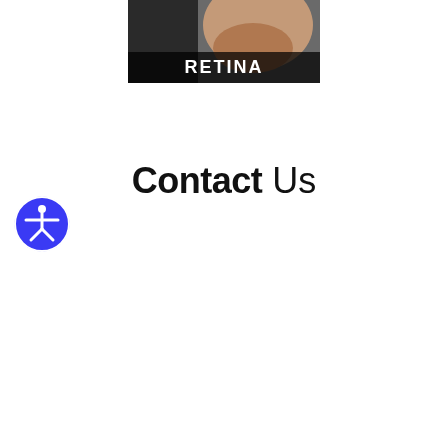[Figure (photo): Close-up photo of a man holding a phone to his ear, with a dark semi-transparent overlay banner at the bottom showing the text 'RETINA' in bold white capital letters.]
Contact Us
[Figure (logo): Accessibility icon: a blue circle with a white stick figure with arms outstretched, representing accessibility/wheelchair access symbol.]